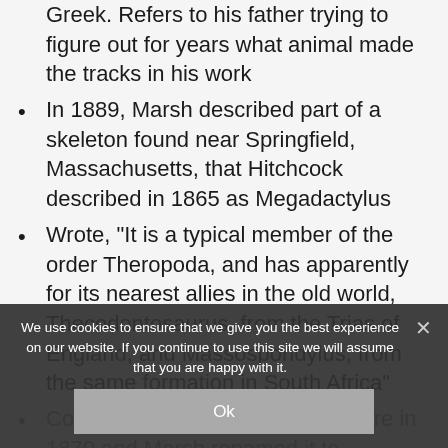Greek. Refers to his father trying to figure out for years what animal made the tracks in his work
In 1889, Marsh described part of a skeleton found near Springfield, Massachusetts, that Hitchcock described in 1865 as Megadactylus
Wrote, “It is a typical member of the order Theropoda, and has apparently for its nearest allies in the old world, Thecodontosaurus, from the Trias of England, and Massospondylus, from the same formation in South Africa”
Cope described the specimen more in 1870 and Marsh renamed it to Amphisaurus (means “near…”) in 1882, then again to Anchisaurus (m… lizard”) in 1885 (both names w… upied”)
More fossils were found in 1884 near…
We use cookies to ensure that we give you the best experience on our website. If you continue to use this site we will assume that you are happy with it.